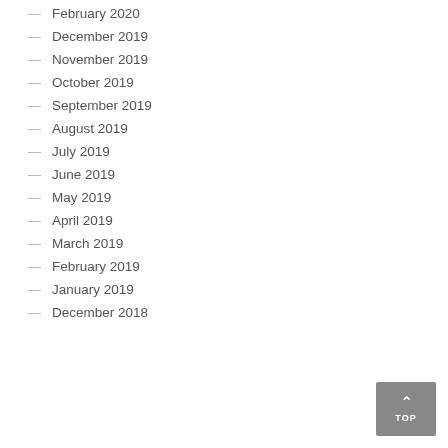February 2020
December 2019
November 2019
October 2019
September 2019
August 2019
July 2019
June 2019
May 2019
April 2019
March 2019
February 2019
January 2019
December 2018